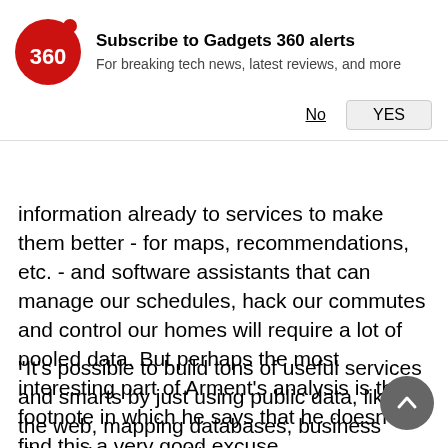[Figure (logo): Gadgets 360 red circle logo with '360' text and red dot]
Subscribe to Gadgets 360 alerts
For breaking tech news, latest reviews, and more
No   YES
information already to services to make them better - for maps, recommendations, etc. - and software assistants that can manage our schedules, hack our commutes and control our homes will require a lot of pooled data. But perhaps the most interesting part of Arment's analysis is the footnote in which he says that he doesn't find this a very good excuse.
"It's possible to build tons of useful services and smarts by just using public data, like the web, mapping databases, business directories, etc., without any access to or involvement from the user's private data," he said. In other words, Apple's getting outstripped on